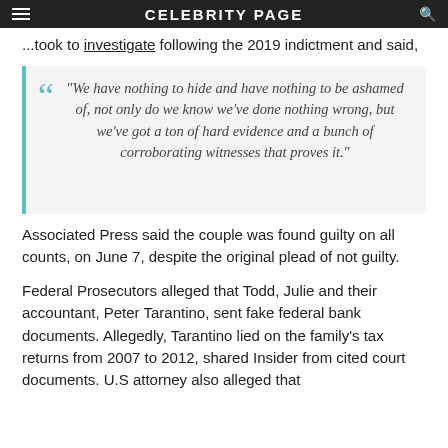CELEBRITY PAGE
...took to investigate following the 2019 indictment and said,
"We have nothing to hide and have nothing to be ashamed of, not only do we know we've done nothing wrong, but we've got a ton of hard evidence and a bunch of corroborating witnesses that proves it."
Associated Press said the couple was found guilty on all counts, on June 7, despite the original plead of not guilty.
Federal Prosecutors alleged that Todd, Julie and their accountant, Peter Tarantino, sent fake federal bank documents. Allegedly, Tarantino lied on the family's tax returns from 2007 to 2012, shared Insider from cited court documents. U.S attorney also alleged that